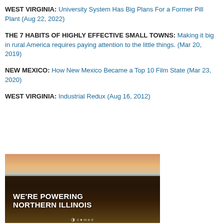WEST VIRGINIA: University System Has Big Plans For a Former Pill Plant (Aug 22, 2022)
THE 7 HABITS OF HIGHLY EFFECTIVE SMALL TOWNS: Making it big in rural America requires paying attention to the little things. (Mar 20, 2019)
NEW MEXICO: How New Mexico Became a Top 10 Film State (Mar 23, 2020)
WEST VIRGINIA: Industrial Redux (Aug 16, 2012)
[Figure (photo): Aerial night view of Chicago skyline with city lights and Lake Michigan in background, with text overlay: WE'RE POWERING NORTHERN ILLINOIS and a logo at the bottom]